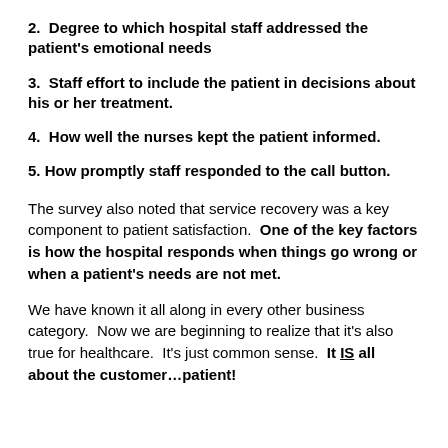2.  Degree to which hospital staff addressed the patient's emotional needs
3.  Staff effort to include the patient in decisions about his or her treatment.
4.  How well the nurses kept the patient informed.
5. How promptly staff responded to the call button.
The survey also noted that service recovery was a key component to patient satisfaction.  One of the key factors is how the hospital responds when things go wrong or when a patient's needs are not met.
We have known it all along in every other business category.  Now we are beginning to realize that it's also true for healthcare.  It's just common sense.  It IS all about the customer…patient!